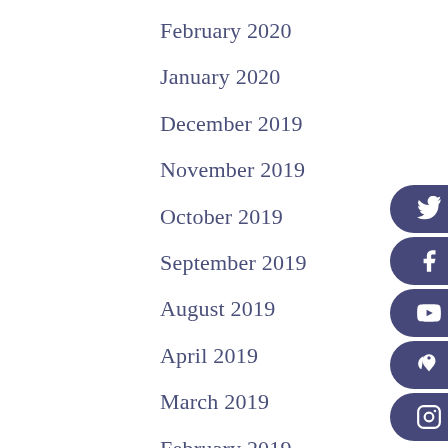February 2020
January 2020
December 2019
November 2019
October 2019
September 2019
August 2019
April 2019
March 2019
February 2019
December 2018
[Figure (illustration): Social media sidebar buttons: Twitter, Facebook, YouTube, Pinterest/other, Instagram icons on dark blue pill-shaped buttons on right edge]